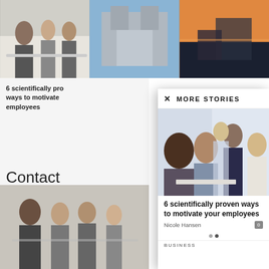[Figure (photo): Three photos in a horizontal strip at top: business meeting, industrial cooling towers, cargo ship at sunset]
6 scientifically proven ways to motivate employees
Contact
editor@feedlead...
[Figure (photo): Bottom left: business meeting photo partially visible]
[Figure (screenshot): Modal overlay showing MORE STORIES panel with article: 6 scientifically proven ways to motivate your employees by Nicole Hansen, comment count 0, category BUSINESS]
MORE STORIES
[Figure (photo): Article photo: group of business professionals looking at laptop/documents together]
6 scientifically proven ways to motivate your employees
Nicole Hansen
BUSINESS